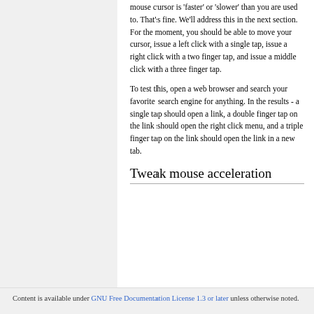mouse cursor is 'faster' or 'slower' than you are used to. That's fine. We'll address this in the next section. For the moment, you should be able to move your cursor, issue a left click with a single tap, issue a right click with a two finger tap, and issue a middle click with a three finger tap.
To test this, open a web browser and search your favorite search engine for anything. In the results - a single tap should open a link, a double finger tap on the link should open the right click menu, and a triple finger tap on the link should open the link in a new tab.
Tweak mouse acceleration
Content is available under GNU Free Documentation License 1.3 or later unless otherwise noted.